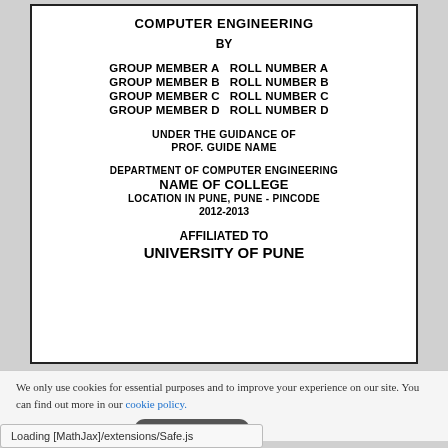COMPUTER ENGINEERING
BY
| GROUP MEMBER A | ROLL NUMBER A |
| GROUP MEMBER B | ROLL NUMBER B |
| GROUP MEMBER C | ROLL NUMBER C |
| GROUP MEMBER D | ROLL NUMBER D |
UNDER THE GUIDANCE OF
PROF. GUIDE NAME
DEPARTMENT OF COMPUTER ENGINEERING
NAME OF COLLEGE
LOCATION IN PUNE, PUNE - PINCODE
2012-2013
AFFILIATED TO
UNIVERSITY OF PUNE
We only use cookies for essential purposes and to improve your experience on our site. You can find out more in our cookie policy.
Loading [MathJax]/extensions/Safe.js